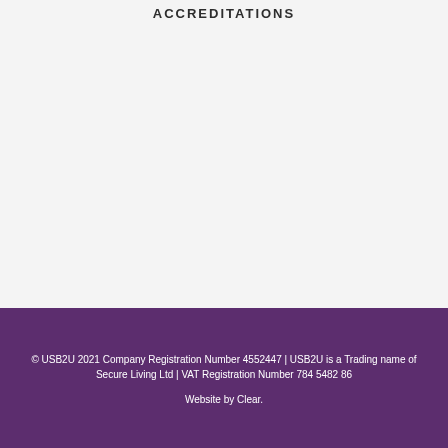ACCREDITATIONS
© USB2U 2021 Company Registration Number 4552447 | USB2U is a Trading name of Secure Living Ltd | VAT Registration Number 784 5482 86

Website by Clear.